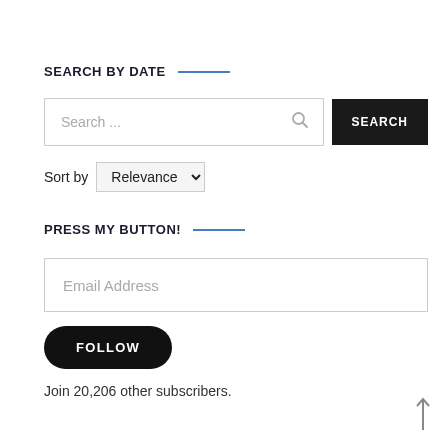SEARCH BY DATE
[Figure (screenshot): Search input field with placeholder 'Search ...' and a search icon, alongside a black SEARCH button]
Sort by  Relevance
PRESS MY BUTTON!
[Figure (screenshot): Email Address input field]
[Figure (screenshot): Black rounded FOLLOW button]
Join 20,206 other subscribers.